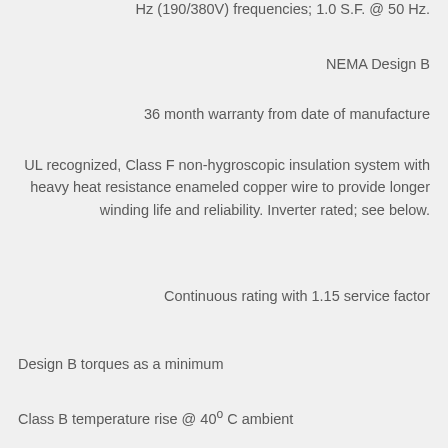Hz (190/380V) frequencies; 1.0 S.F. @ 50 Hz.
NEMA Design B
36 month warranty from date of manufacture
UL recognized, Class F non-hygroscopic insulation system with heavy heat resistance enameled copper wire to provide longer winding life and reliability. Inverter rated; see below.
Continuous rating with 1.15 service factor
Design B torques as a minimum
Class B temperature rise @ 40o C ambient